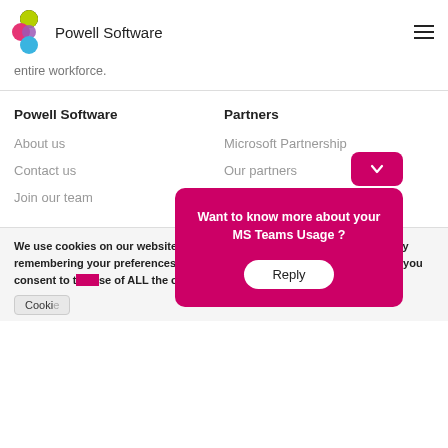Powell Software
entire workforce.
Powell Software
Partners
About us
Microsoft Partnership
Contact us
Our partners
Join our team
Become a partner
We use cookies on our website to give you the most relevant experience by remembering your preferences and repeat visits. By clicking “Accept All”, you consent to the use of ALL the cookies. However, you may visit to provide
Cookie
Want to know more about your MS Teams Usage ?
Reply